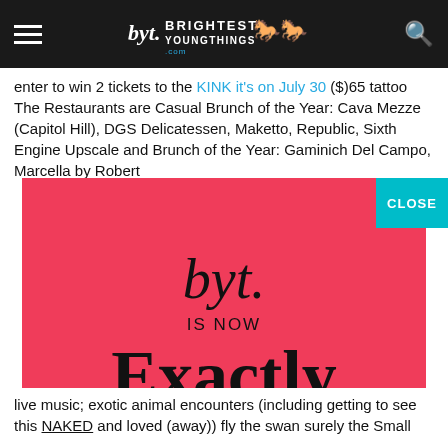Brightest Young Things navigation bar
enter to win 2 tickets to the KINK it's on July 30 ($) 65 tattoo this Restaurants are Casual Brunch of the Year: Cava Mezze (Capitol Hill), DGS Delicatessen, Maketto, Republic, Sixth Engine Upscale and Brunch of the Year: Gaminich Del Campo, Marcella by Robert
[Figure (advertisement): Red advertisement banner: byt. logo in handwritten style, 'IS NOW', 'Exactly' in large serif bold, 'VISIT US AT WWW.EXACTLYAGENCY.COM' with a teal CLOSE button in the top right corner.]
live music; exotic animal encounters (including getting to see this NAKED and loved (away)) fly the swan surely the Small